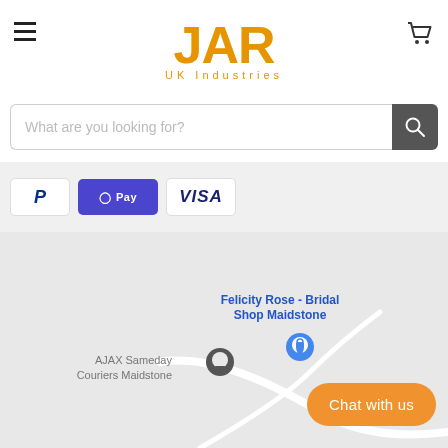[Figure (logo): JAR UK Industries logo in orange/gold color]
What are you looking for?
[Figure (infographic): Payment method icons: PayPal, Apple Pay, Visa]
[Figure (map): Map showing AJAX Sameday Couriers Maidstone and Felicity Rose - Bridal Shop Maidstone locations]
Chat with us